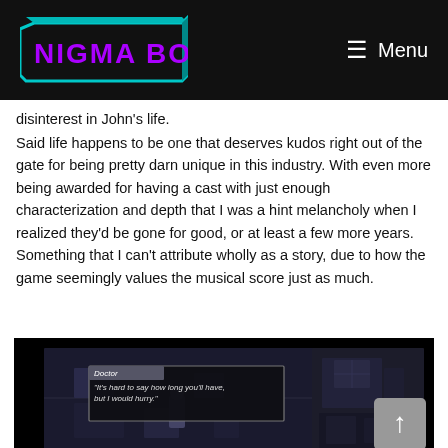NIGMA BOX  Menu
disinterest in John's life.
Said life happens to be one that deserves kudos right out of the gate for being pretty darn unique in this industry. With even more being awarded for having a cast with just enough characterization and depth that I was a hint melancholy when I realized they'd be gone for good, or at least a few more years. Something that I can't attribute wholly as a story, due to how the game seemingly values the musical score just as much.
[Figure (screenshot): Game screenshot showing a dark room scene with a dialog box. The dialog title reads 'Doctor' and the text says: "It's hard to say how long you'll have, but I would hurry." A character sprite is visible in a dimly lit room environment. A scroll-to-top arrow button is in the bottom right corner.]